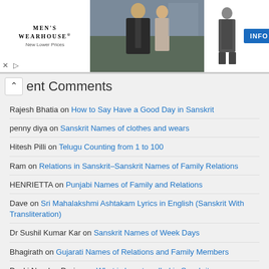[Figure (photo): Men's Wearhouse advertisement banner showing a couple in formal wear, a male figure in a suit, and an INFO button]
Recent Comments
Rajesh Bhatia on How to Say Have a Good Day in Sanskrit
penny diya on Sanskrit Names of clothes and wears
Hitesh Pilli on Telugu Counting from 1 to 100
Ram on Relations in Sanskrit–Sanskrit Names of Family Relations
HENRIETTA on Punjabi Names of Family and Relations
Dave on Sri Mahalakshmi Ashtakam Lyrics in English (Sanskrit With Transliteration)
Dr Sushil Kumar Kar on Sanskrit Names of Week Days
Bhagirath on Gujarati Names of Relations and Family Members
Devki Nandan Doriya on What is beauty called in Sanskrit